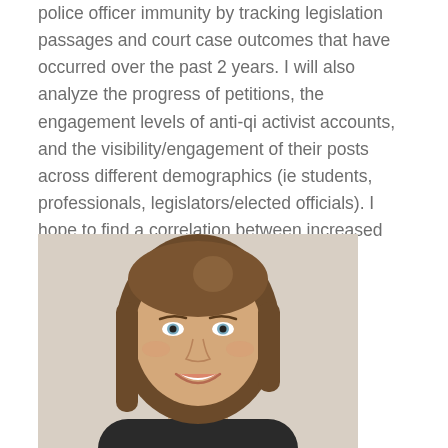police officer immunity by tracking legislation passages and court case outcomes that have occurred over the past 2 years. I will also analyze the progress of petitions, the engagement levels of anti-qi activist accounts, and the visibility/engagement of their posts across different demographics (ie students, professionals, legislators/elected officials). I hope to find a correlation between increased online protest/information sharing and increased action in government spaces.
[Figure (photo): Headshot photo of a young woman with long brown hair, blue eyes, and a smile, photographed against a light background.]